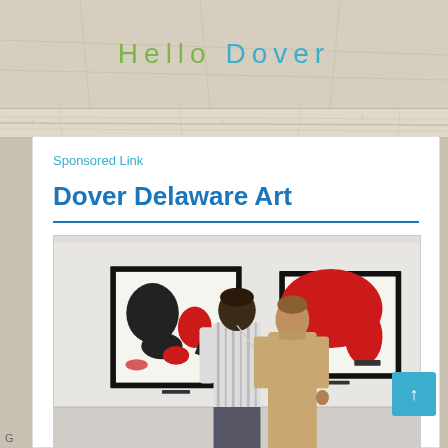Hello Dover
Sponsored Link
Dover Delaware Art
[Figure (photo): Two people standing in an art gallery viewed from behind, looking at two large abstract framed artworks on a white wall. The left painting has black and red organic shapes on white background; the right painting features a large red shape on white. One person wears a striped shirt and has earphones, the other wears a tan blazer.]